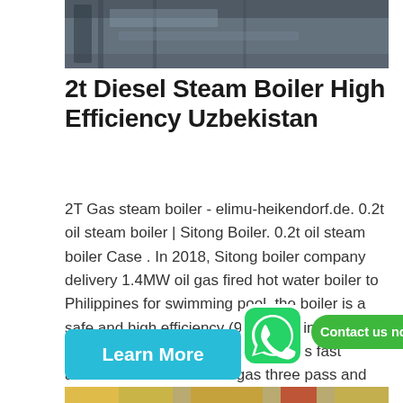[Figure (photo): Industrial boiler or factory interior, dark metal structures, top portion of page]
2t Diesel Steam Boiler High Efficiency Uzbekistan
2T Gas steam boiler - elimu-heikendorf.de. 0.2t oil steam boiler | Sitong Boiler. 0.2t oil steam boiler Case . In 2018, Sitong boiler company delivery 1.4MW oil gas fired hot water boiler to Philippines for swimming pool, the boiler is a safe and high efficiency (98%) heating equipment with high automation, it is fast assemble boiler with flue gas three pass and wet b...ructure, widely ...used
[Figure (photo): Industrial boiler room with yellow and red pipes, bottom portion of page]